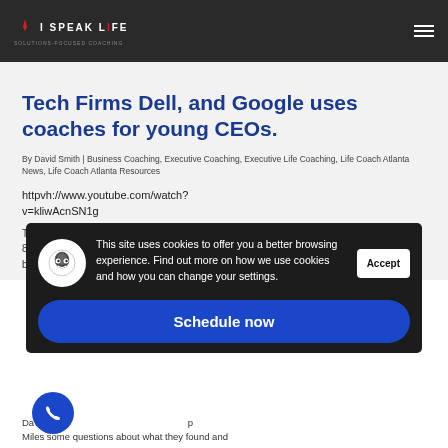I SPEAK LIFE | SOLUTIONS-FOCUSED COACHING
Tech Firms Dell, and Google uses coaches for young CEOs.
By David Smith | Business Coaching, Executive Coaching, Executive Life Coaching, Life Coach Atlanta News, Life Coach Atlanta Resources
httpvh://www.youtube.com/watch?v=kliwAcnSN1g
These clips are from Harvard University/The Miles Group Survey this month, which asked 83 CEOs, board directors and other executives questions about how they receive and how best...
David Lee... Miles some questions about what they found and
This site uses cookies to offer you a better browsing experience. Find out more on how we use cookies and how you can change your settings.
Accept
Schedule now